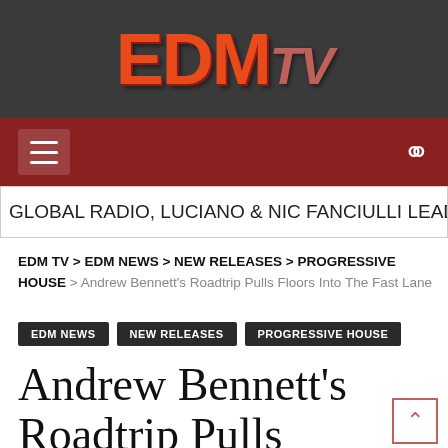EDM TV
≡   🔍
GLOBAL RADIO, LUCIANO & NIC FANCIULLI LEAD THE W
EDM TV > EDM NEWS > NEW RELEASES > PROGRESSIVE HOUSE > Andrew Bennett's Roadtrip Pulls Floors Into The Fast Lane
EDM NEWS
NEW RELEASES
PROGRESSIVE HOUSE
Andrew Bennett's Roadtrip Pulls Floors Into The Fast Lane